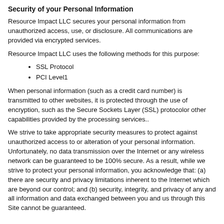Security of your Personal Information
Resource Impact LLC secures your personal information from unauthorized access, use, or disclosure. All communications are provided via encrypted services.
Resource Impact LLC uses the following methods for this purpose:
SSL Protocol
PCI Level1
When personal information (such as a credit card number) is transmitted to other websites, it is protected through the use of encryption, such as the Secure Sockets Layer (SSL) protocolor other capabilities provided by the processing services..
We strive to take appropriate security measures to protect against unauthorized access to or alteration of your personal information. Unfortunately, no data transmission over the Internet or any wireless network can be guaranteed to be 100% secure. As a result, while we strive to protect your personal information, you acknowledge that: (a) there are security and privacy limitations inherent to the Internet which are beyond our control; and (b) security, integrity, and privacy of any and all information and data exchanged between you and us through this Site cannot be guaranteed.